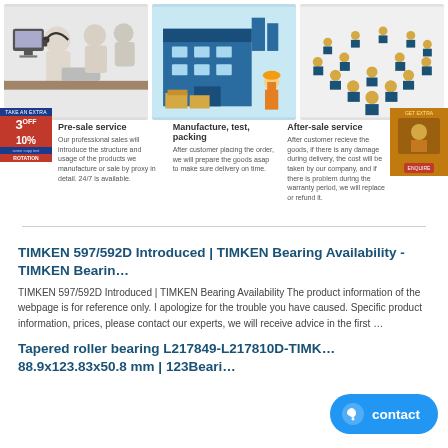[Figure (illustration): Three cartoon white figures wearing headsets typing at computers (customer service representatives)]
[Figure (illustration): Cartoon illustration of a factory/warehouse building with a worker]
[Figure (illustration): Cartoon illustration of many workers in blue uniforms arranged in a V-formation]
Pre-sale service
Our professional sales will introduce the structure and usage of the products we manufacture or sale by proxy in detail. 24/7 is available.
Manufacture, test, packing
After customer placing the order, we will prepare the goods asap to make sure delivery on time.
After-sale service
After customer recieve the goods, if there is any damage during delivery, the cost will be taken by our company, and if there is problem during the warranty period, we will replace or refund it.
TIMKEN 597/592D Introduced | TIMKEN Bearing Availability - TIMKEN Bearin…
TIMKEN 597/592D Introduced | TIMKEN Bearing Availability The product information of the webpage is for reference only. I apologize for the trouble you have caused. Specific product information, prices, please contact our experts, we will receive advice in the first …
Tapered roller bearing L217849-L217810D-TIMKEN 88.9x123.83x50.8 mm | 123Beari…